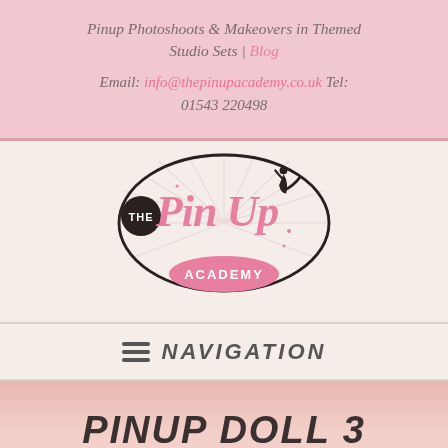Pinup Photoshoots & Makeovers in Themed Studio Sets | Blog
Email: info@thepinupacademy.co.uk  Tel: 01543 220498
[Figure (logo): The Pin Up Academy logo — oval shape with pink script 'Pin Up' text and silhouette of a pinup figure, with 'ACADEMY' in a pink oval banner at the bottom and 'THE' in a dark circle on the left.]
≡ NAVIGATION
PINUP DOLL 3
AVAILABILITY: